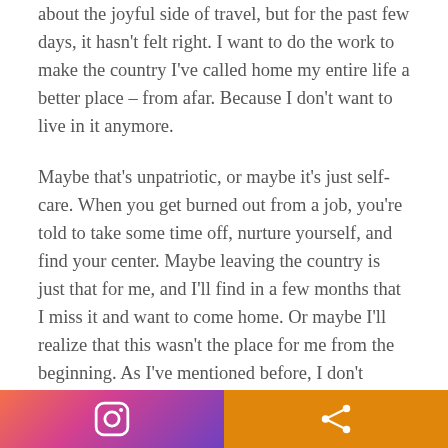about the joyful side of travel, but for the past few days, it hasn't felt right. I want to do the work to make the country I've called home my entire life a better place – from afar. Because I don't want to live in it anymore.
Maybe that's unpatriotic, or maybe it's just self-care. When you get burned out from a job, you're told to take some time off, nurture yourself, and find your center. Maybe leaving the country is just that for me, and I'll find in a few months that I miss it and want to come home. Or maybe I'll realize that this wasn't the place for me from the beginning. As I've mentioned before, I don't believe in blind loyalty to anything.
[Figure (other): Social media footer bar with Instagram icon on gradient background (red-pink-purple) on the left, and a share icon on orange background on the right.]